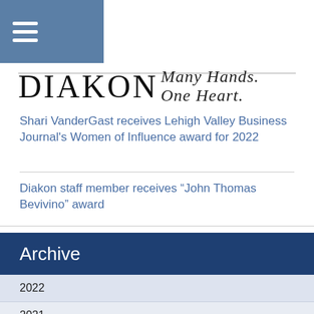[Figure (other): Navigation hamburger menu icon on dark blue-grey background]
DIAKON Many Hands. One Heart.
Shari VanderGast receives Lehigh Valley Business Journal's Women of Influence award for 2022
Diakon staff member receives “John Thomas Bevivino” award
Archive
2022
2021
2020